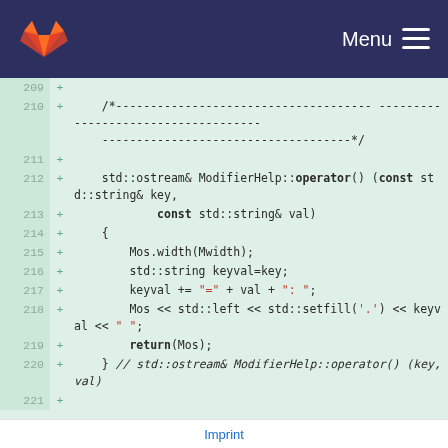GitLab — Menu
[Figure (screenshot): Code diff view showing lines 209-221 of a C++ source file with added lines (green background), displaying std::ostream& ModifierHelp::operator() function implementation]
Imprint